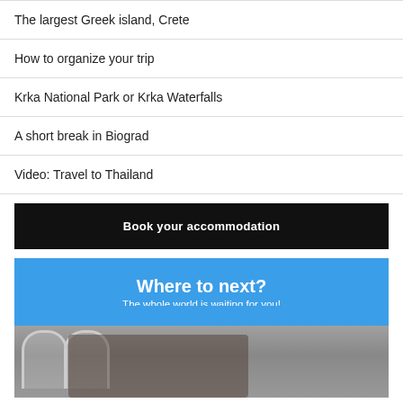The largest Greek island, Crete
How to organize your trip
Krka National Park or Krka Waterfalls
A short break in Biograd
Video: Travel to Thailand
Book your accommodation
[Figure (infographic): Travel promotion banner with blue header reading 'Where to next? The whole world is waiting for you!' and a photo of two people reading a map in front of classical architecture]